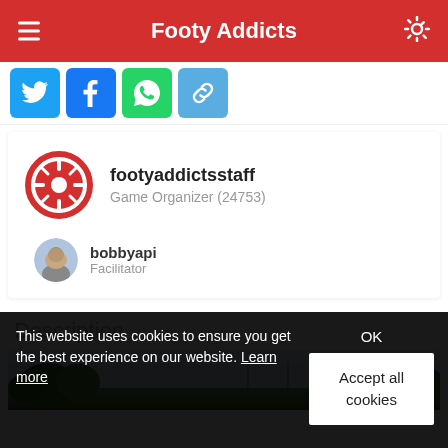Footy Addicts
[Figure (infographic): Social share buttons: Twitter, Facebook, WhatsApp, Link]
footyaddictsstaff
Game Organizer (24753)
bobbyapi
Facilitator
Description
[Figure (photo): Football pitch / field photo partially visible]
This website uses cookies to ensure you get the best experience on our website. Learn more
OK
Accept all cookies